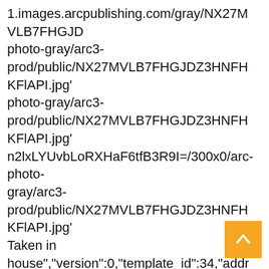1.images.arcpublishing.com/gray/NX27MVLB7FHGJD photo-gray/arc3-prod/public/NX27MVLB7FHGJDZ3HNFHKFlAPI.jpg' photo-gray/arc3-prod/public/NX27MVLB7FHGJDZ3HNFHKFlAPI.jpg' n2lxLYUvbLoRXHaF6tfB3R9I=/300x0/arc-photo-gray/arc3-prod/public/NX27MVLB7FHGJDZ3HNFHKFlAPI.jpg' Taken in house","version":0,"template_id":34,"address":,"caption' crews respond to deadly crash near the Hwy. 51 and Cottage Grove Rd. interchange, on Dec. 12, 2021.","created_date":"2021-12-14T16:12:41Z","credits":"affiliation":["name":"WMTV/Curt Lenz","type":"author"],"height":540,"image_typ ot 12-